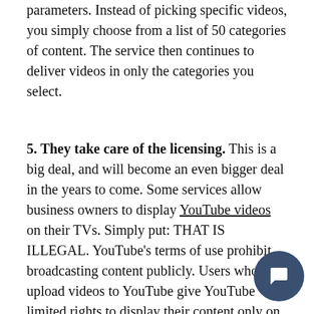parameters. Instead of picking specific videos, you simply choose from a list of 50 categories of content. The service then continues to deliver videos in only the categories you select.
5. They take care of the licensing. This is a big deal, and will become an even bigger deal in the years to come. Some services allow business owners to display YouTube videos on their TVs. Simply put: THAT IS ILLEGAL. YouTube's terms of use prohibit broadcasting content publicly. Users who upload videos to YouTube give YouTube limited rights to display their content only on certain monetized online platforms. Since taking the content off the platform is essentially stealing it, the owner of the content could come after your business if you use it that way.